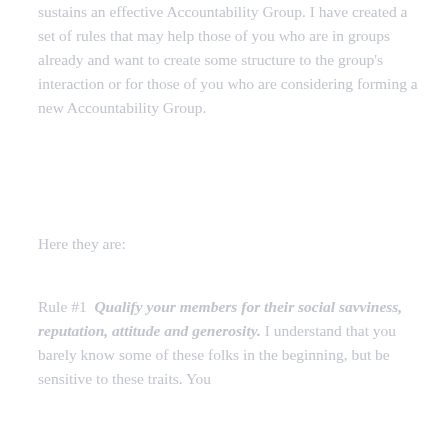sustains an effective Accountability Group. I have created a set of rules that may help those of you who are in groups already and want to create some structure to the group's interaction or for those of you who are considering forming a new Accountability Group.
Here they are:
Rule #1  Qualify your members for their social savviness, reputation, attitude and generosity. I understand that you barely know some of these folks in the beginning, but be sensitive to these traits. You